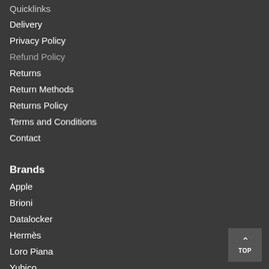Quicklinks
Delivery
Privacy Policy
Refund Policy
Returns
Return Methods
Returns Policy
Terms and Conditions
Contact
Brands
Apple
Brioni
Datalocker
Hermès
Loro Piana
Yubico